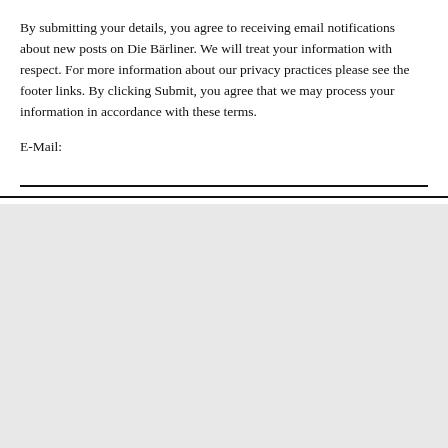By submitting your details, you agree to receiving email notifications about new posts on Die Bärliner. We will treat your information with respect. For more information about our privacy practices please see the footer links. By clicking Submit, you agree that we may process your information in accordance with these terms.
E-Mail:
Die Bärliner Student Blog uses cookies to ensure you get the best experience of our website.
Got it!